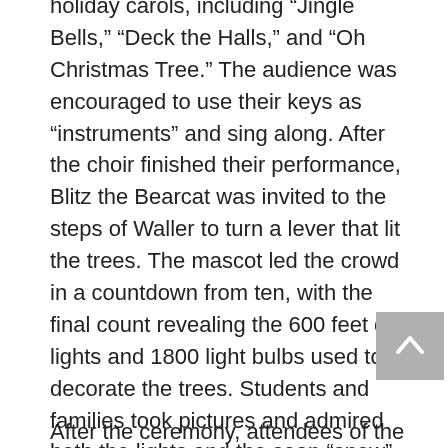holiday carols, including “Jingle Bells,” “Deck the Halls,” and “Oh Christmas Tree.” The audience was encouraged to use their keys as “instruments” and sing along. After the choir finished their performance, Blitz the Bearcat was invited to the steps of Waller to turn a lever that lit the trees. The mascot led the crowd in a countdown from ten, with the final count revealing the 600 feet of lights and 1800 light bulbs used to decorate the trees. Students and families took pictures and admired both the lights and the soap “snow” that rained down over the crowd in celebration.
After the ceremony, attendees of the